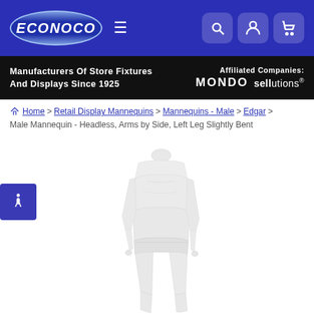[Figure (screenshot): Econoco website header with blue navigation bar showing the Econoco oval logo, hamburger menu icon, and icons for search, account, and shopping cart]
Manufacturers Of Store Fixtures And Displays Since 1925
Affiliated Companies: MONDO sellutions®
Home > Retail Display Mannequins > Mannequins - Male > Edgar > Male Mannequin - Headless, Arms by Side, Left Leg Slightly Bent
[Figure (photo): White headless male mannequin with arms by side and left leg slightly bent, shown against white background]